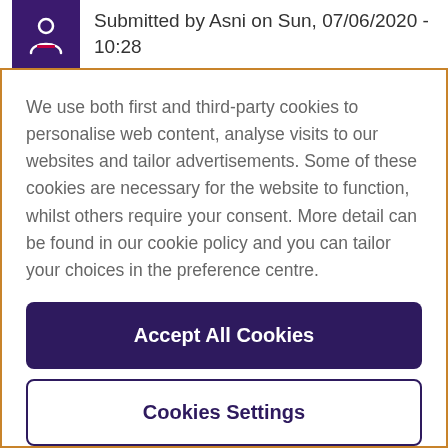Submitted by Asni on Sun, 07/06/2020 - 10:28
We use both first and third-party cookies to personalise web content, analyse visits to our websites and tailor advertisements. Some of these cookies are necessary for the website to function, whilst others require your consent. More detail can be found in our cookie policy and you can tailor your choices in the preference centre.
Accept All Cookies
Cookies Settings